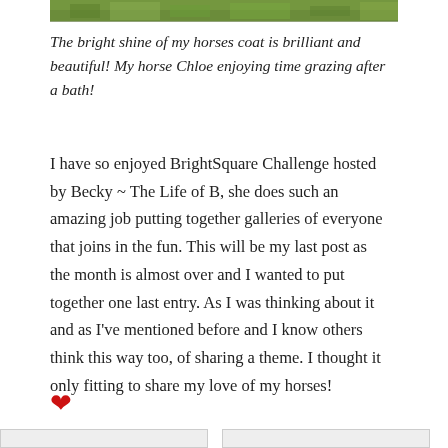[Figure (photo): Top strip of a green grassy/foliage background image, partially cropped]
The bright shine of my horses coat is brilliant and beautiful! My horse Chloe enjoying time grazing after a bath!
I have so enjoyed BrightSquare Challenge hosted by Becky ~ The Life of B, she does such an amazing job putting together galleries of everyone that joins in the fun. This will be my last post as the month is almost over and I wanted to put together one last entry. As I was thinking about it and as I’ve mentioned before and I know others think this way too, of sharing a theme. I thought it only fitting to share my love of my horses! ❤
[Figure (photo): Bottom left thumbnail image placeholder]
[Figure (photo): Bottom right thumbnail image placeholder]